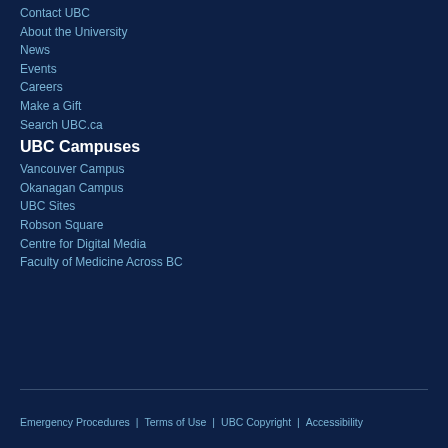Contact UBC
About the University
News
Events
Careers
Make a Gift
Search UBC.ca
UBC Campuses
Vancouver Campus
Okanagan Campus
UBC Sites
Robson Square
Centre for Digital Media
Faculty of Medicine Across BC
Emergency Procedures | Terms of Use | UBC Copyright | Accessibility